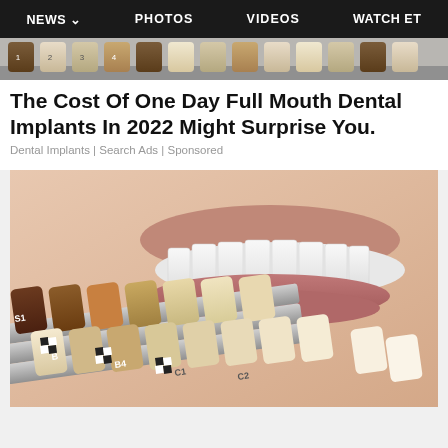NEWS | PHOTOS | VIDEOS | WATCH ET
[Figure (photo): Dental shade guide with multiple tooth color samples held in front of a person smiling with white teeth, showing various shades from dark brown to cream/white. Labels visible include S1, B, B4, C1, C2.]
The Cost Of One Day Full Mouth Dental Implants In 2022 Might Surprise You.
Dental Implants | Search Ads | Sponsored